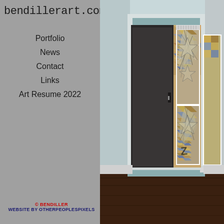bendillerart.com
Portfolio > 2017
Portfolio
News
Contact
Links
Art Resume 2022
[Figure (photo): Interior hallway photograph with abstract geometric artwork displayed on wood-paneled wall in two panels, herringbone wood floor]
© BENDILLER
WEBSITE BY OTHERPEOPLESPIXELS